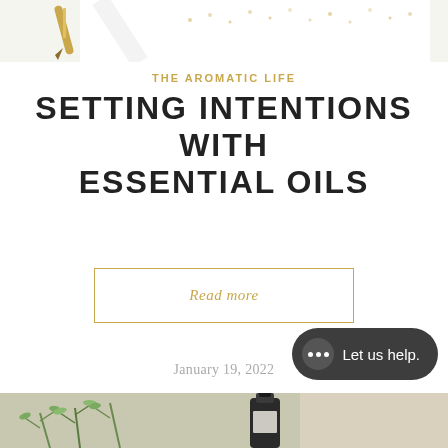[Figure (photo): Top portion of a styled flat-lay photo showing a gold pen, a notebook, and decorative gold dot details on a white background]
THE AROMATIC LIFE
SETTING INTENTIONS WITH ESSENTIAL OILS
Read more
January 19, 2022
[Figure (other): Chat help widget button with dark rounded rectangle, speech bubble icon with three dots, and text 'Let us help.']
[Figure (photo): Bottom portion of a photo showing green herbs/rosemary and a dark bottle, likely essential oil product]